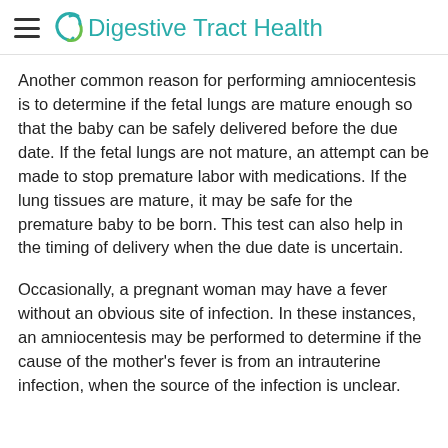Digestive Tract Health
Another common reason for performing amniocentesis is to determine if the fetal lungs are mature enough so that the baby can be safely delivered before the due date. If the fetal lungs are not mature, an attempt can be made to stop premature labor with medications. If the lung tissues are mature, it may be safe for the premature baby to be born. This test can also help in the timing of delivery when the due date is uncertain.
Occasionally, a pregnant woman may have a fever without an obvious site of infection. In these instances, an amniocentesis may be performed to determine if the cause of the mother's fever is from an intrauterine infection, when the source of the infection is unclear.